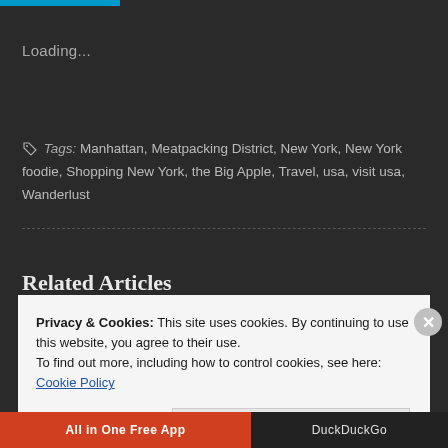Loading...
Tags: Manhattan, Meatpacking District, New York, New York foodie, Shopping New York, the Big Apple, Travel, usa, visit usa, Wanderlust
Related Articles
Privacy & Cookies: This site uses cookies. By continuing to use this website, you agree to their use.
To find out more, including how to control cookies, see here: Cookie Policy
Close and accept
All in One Free App
DuckDuckGo